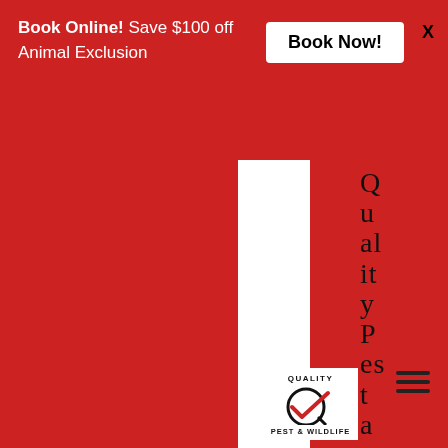Book Online! Save $100 off Animal Exclusion
Book Now!
X
[Figure (logo): Quality Pest and Wildlife vertical sidebar text and company logo with circle-checkmark icon reading QUALITY PEST & WILDLIFE]
Quality Pest and Wildlife